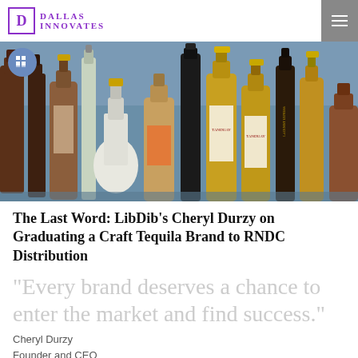Dallas Innovates
[Figure (photo): A collection of liquor bottles of various shapes and sizes arranged together, photographed against a blurred background. Brands visible include Tanduay among others.]
The Last Word: LibDib's Cheryl Durzy on Graduating a Craft Tequila Brand to RNDC Distribution
“Every brand deserves a chance to enter the market and find success.”
Cheryl Durzy
Founder and CEO
LibDib
....on LibDib's incubated brand MICO Tequila graduating to California and Texas distribution through Grand Prairie-based